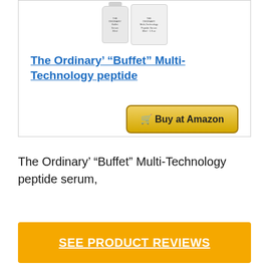[Figure (photo): Product photo of The Ordinary Buffet Multi-Technology Peptide Serum bottles]
The Ordinary’ “Buffet” Multi-Technology peptide
Buy at Amazon
The Ordinary’ “Buffet” Multi-Technology peptide serum,
SEE PRODUCT REVIEWS